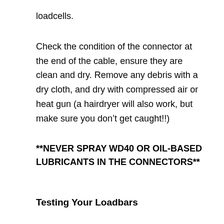loadcells.
Check the condition of the connector at the end of the cable, ensure they are clean and dry. Remove any debris with a dry cloth, and dry with compressed air or heat gun (a hairdryer will also work, but make sure you don’t get caught!!)
**NEVER SPRAY WD40 OR OIL-BASED LUBRICANTS IN THE CONNECTORS**
Testing Your Loadbars
Here Damien will talk you through how to check the readout of your load bars and how to see where if any an